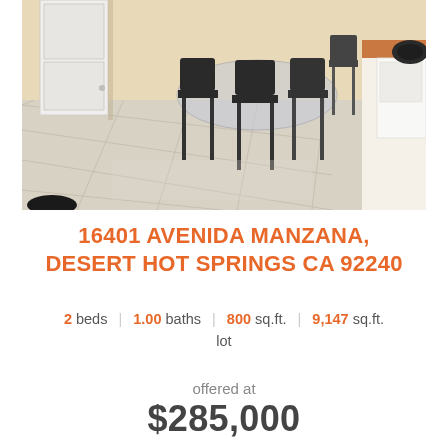[Figure (photo): Interior photo of a dining area with tile floor, metal chairs around a glass table, a white door on the left, and kitchen counter with wood trim on the right.]
16401 AVENIDA MANZANA, DESERT HOT SPRINGS CA 92240
2 beds | 1.00 baths | 800 sq.ft. | 9,147 sq.ft. lot
offered at
$285,000